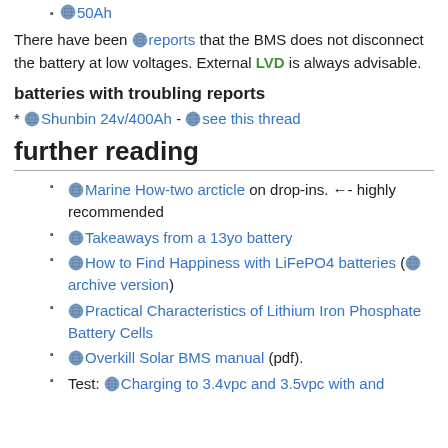50Ah
There have been reports that the BMS does not disconnect the battery at low voltages. External LVD is always advisable.
batteries with troubling reports
Shunbin 24v/400Ah - see this thread
further reading
Marine How-two arcticle on drop-ins. ←- highly recommended
Takeaways from a 13yo battery
How to Find Happiness with LiFePO4 batteries (archive version)
Practical Characteristics of Lithium Iron Phosphate Battery Cells
Overkill Solar BMS manual (pdf).
Test: Charging to 3.4vpc and 3.5vpc with and